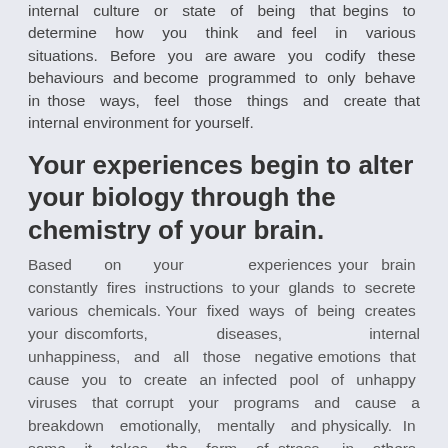internal culture or state of being that begins to determine how you think and feel in various situations. Before you are aware you codify these behaviours and become programmed to only behave in those ways, feel those things and create that internal environment for yourself.
Your experiences begin to alter your biology through the chemistry of your brain.
Based on your experiences your brain constantly fires instructions to your glands to secrete various chemicals. Your fixed ways of being creates your discomforts, diseases, internal unhappiness, and all those negative emotions that cause you to create an infected pool of unhappy viruses that corrupt your programs and cause a breakdown emotionally, mentally and physically. In some it takes the form of stress, in others depression and still others feel the physical impact of it in the form of body aches that are progressive.